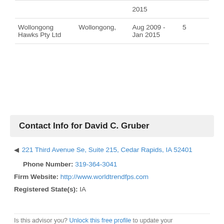|  |  | 2015 |  |
| Wollongong Hawks Pty Ltd | Wollongong, | Aug 2009 - Jan 2015 | 5 |
Contact Info for David C. Gruber
221 Third Avenue Se, Suite 215, Cedar Rapids, IA 52401
Phone Number: 319-364-3041
Firm Website: http://www.worldtrendfps.com
Registered State(s): IA
Is this advisor you? Unlock this free profile to update your